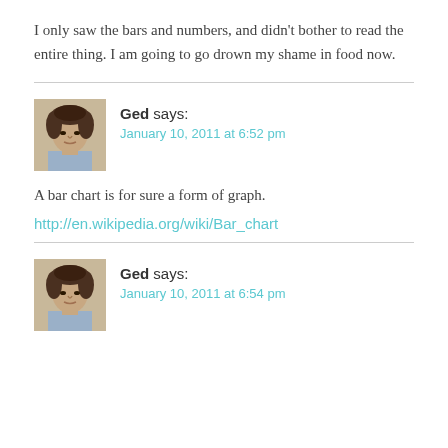I only saw the bars and numbers, and didn't bother to read the entire thing. I am going to go drown my shame in food now.
Ged says:
January 10, 2011 at 6:52 pm
A bar chart is for sure a form of graph.
http://en.wikipedia.org/wiki/Bar_chart
Ged says:
January 10, 2011 at 6:54 pm